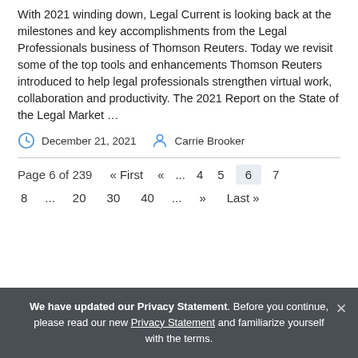With 2021 winding down, Legal Current is looking back at the milestones and key accomplishments from the Legal Professionals business of Thomson Reuters. Today we revisit some of the top tools and enhancements Thomson Reuters introduced to help legal professionals strengthen virtual work, collaboration and productivity. The 2021 Report on the State of the Legal Market …
December 21, 2021   Carrie Brooker
Page 6 of 239  « First  «  ...  4  5  6  7  8  ...  20  30  40  ...  »  Last »
We have updated our Privacy Statement. Before you continue, please read our new Privacy Statement and familiarize yourself with the terms.